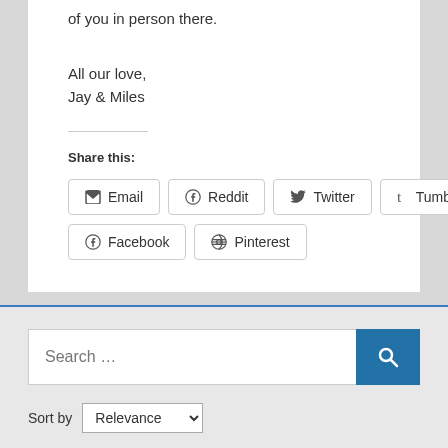of you in person there.
All our love,
Jay & Miles
Share this:
Email   Reddit   Twitter   Tumblr   Facebook   Pinterest